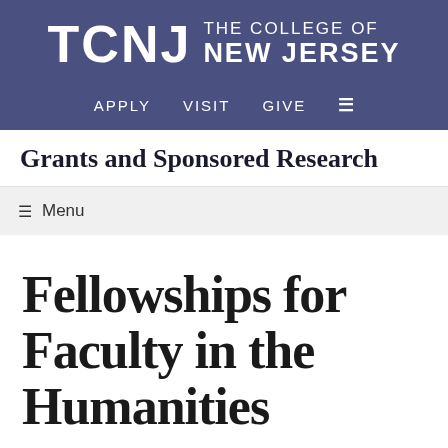TCNJ THE COLLEGE OF NEW JERSEY
APPLY   VISIT   GIVE   ☰
Grants and Sponsored Research
☰ Menu
Fellowships for Faculty in the Humanities